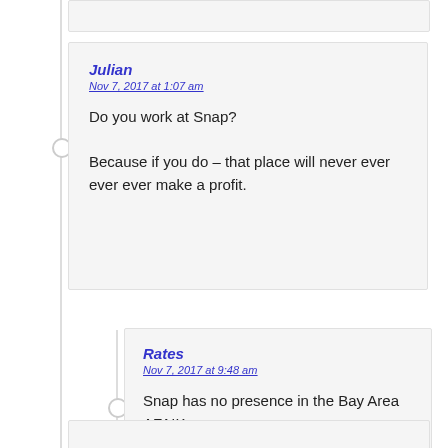Julian
Nov 7, 2017 at 1:07 am

Do you work at Snap?

Because if you do – that place will never ever ever ever make a profit.
Rates
Nov 7, 2017 at 9:48 am

Snap has no presence in the Bay Area AFAIK.